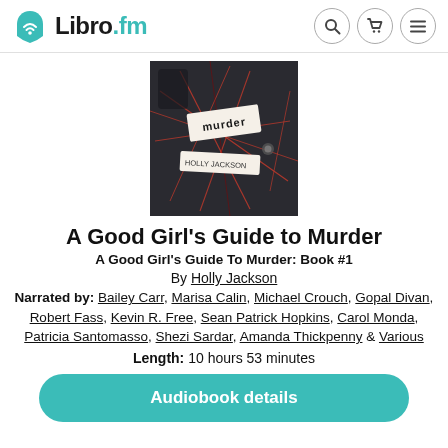Libro.fm
[Figure (photo): Book cover for A Good Girl's Guide to Murder by Holly Jackson, showing red strings, a note labeled 'murder', and another labeled 'Holly Jackson' on a dark background]
A Good Girl's Guide to Murder
A Good Girl's Guide To Murder: Book #1
By Holly Jackson
Narrated by: Bailey Carr, Marisa Calin, Michael Crouch, Gopal Divan, Robert Fass, Kevin R. Free, Sean Patrick Hopkins, Carol Monda, Patricia Santomasso, Shezi Sardar, Amanda Thickpenny & Various
Length: 10 hours 53 minutes
Audiobook details